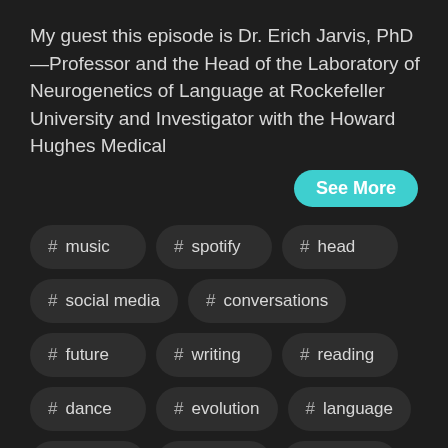My guest this episode is Dr. Erich Jarvis, PhD—Professor and the Head of the Laboratory of Neurogenetics of Language at Rockefeller University and Investigator with the Howard Hughes Medical
See More
# music
# spotify
# head
# social media
# conversations
# future
# writing
# reading
# dance
# evolution
# language
# humans
# speech
# skin
# singing
# emotion